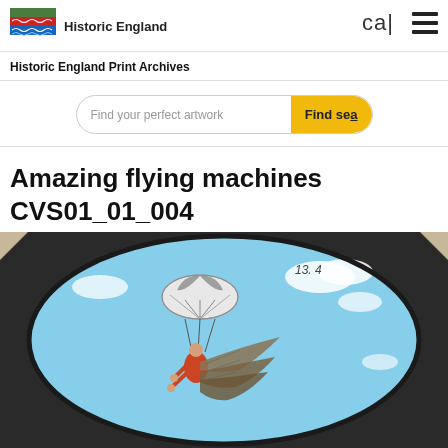Historic England | cal ☰
Historic England Print Archives
Find your perfect artwork | Find sea
Amazing flying machines CVS01_01_004
[Figure (photo): Historical illustration of a person wearing large feathered wings and holding a parachute, depicted flying through a cloudy blue sky. The image is shown within a dark oval/arch frame on what appears to be a lantern slide or glass plate. The number '13. 4' is visible in the upper right of the frame.]